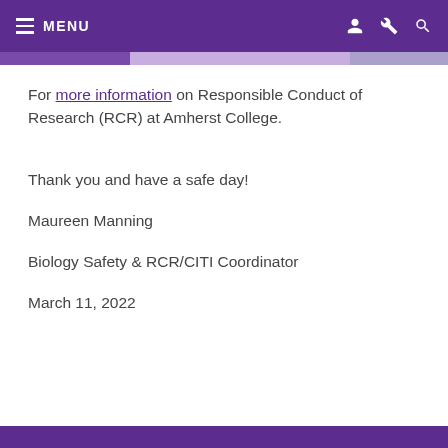MENU
For more information on Responsible Conduct of Research (RCR) at Amherst College.
Thank you and have a safe day!
Maureen Manning
Biology Safety & RCR/CITI Coordinator
March 11, 2022